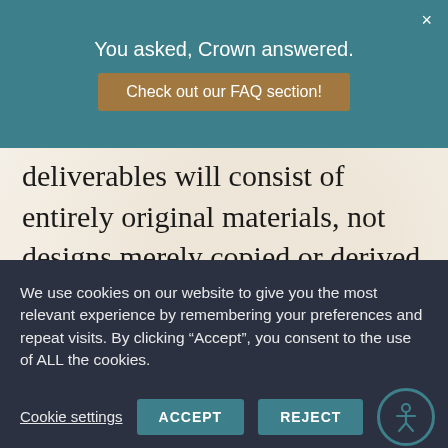You asked, Crown answered. Check out our FAQ section!
deliverables will consist of entirely original materials, not designs merely copied or derived from an existing design, and further, the Agency is agreeing that it will defend and indemnify the coffee company for any claims that run counter to the Agency's representations and warranties. This is entirely fair. After all, the client is paying the
We use cookies on our website to give you the most relevant experience by remembering your preferences and repeat visits. By clicking “Accept”, you consent to the use of ALL the cookies.
Cookie settings  ACCEPT  REJECT